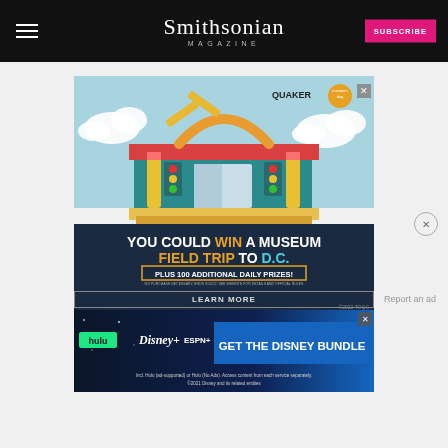Smithsonian MAGAZINE
[Figure (illustration): Quaker Museum Day advertisement. Cartoon school-supply themed building (pencils, rulers, protractors) on light blue sky background with clouds. Dark navy lower half with text: YOU COULD WIN A MUSEUM FIELD TRIP TO D.C. PLUS 100 ADDITIONAL DAILY PRIZES! NO PURCHASE NECESSARY. ENDS 9/14/22. SEE WEBSITE FOR DETAILS AND OFFICIAL RULES. LEARN MORE button. ©2022 TOQC. Quaker and Smithsonian Museum Day logos in top right corner.]
Report an ad
[Figure (illustration): Disney Bundle advertisement featuring Hulu, Disney+, and ESPN+ logos. Dark blue/black gradient background with star graphics. Text: GET THE DISNEY BUNDLE. Fine print: Incl. Hulu (ad-supported) or Hulu (No Ads). Access content from each service separately. ©2021 Disney and its related entities]